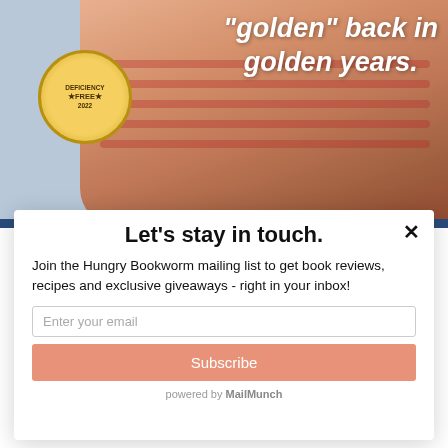[Figure (photo): Background showing an elderly woman in a red striped shirt holding a small fluffy dog, with a gold 'Deficiency Free 2022' badge in the lower left of the image area]
"golden" back in golden years.
Let's stay in touch.
Join the Hungry Bookworm mailing list to get book reviews, recipes and exclusive giveaways - right in your inbox!
Enter your email
Subscribe
powered by MailMunch